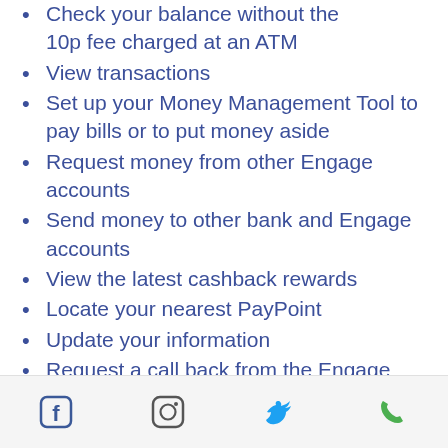Check your balance without the 10p fee charged at an ATM
View transactions
Set up your Money Management Tool to pay bills or to put money aside
Request money from other Engage accounts
Send money to other bank and Engage accounts
View the latest cashback rewards
Locate your nearest PayPoint
Update your information
Request a call back from the Engage Customer Service Team
Engage Post Office Payments are here
You can now use your Engage card to deposit or withdraw cash at your local Post Office branch.
Social media icons: Facebook, Instagram, Twitter, Phone